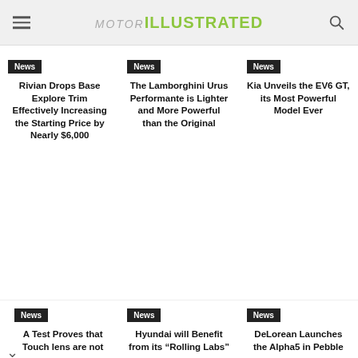MOTOR ILLUSTRATED
Rivian Drops Base Explore Trim Effectively Increasing the Starting Price by Nearly $6,000
The Lamborghini Urus Performante is Lighter and More Powerful than the Original
Kia Unveils the EV6 GT, its Most Powerful Model Ever
A Test Proves that Touch Lens are not
Hyundai will Benefit from its “Rolling Labs”
DeLorean Launches the Alpha5 in Pebble
Purchasers of certain Roundup®, HDX®, or Ace® brand weed killer products may be eligible for a cash payment from a class action settlement. Visit www.WeedKillerAdSettlement.com to learn more.